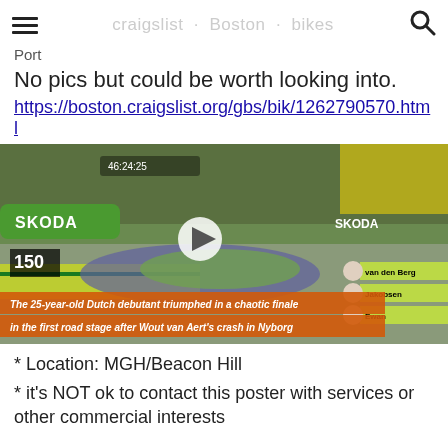Port
No pics but could be worth looking into.
https://boston.craigslist.org/gbs/bik/1262790570.html
[Figure (screenshot): Video screenshot of a cycling race finish with SKODA branding, a peloton of cyclists, crowd lining the road, leaderboard overlay on right side, and orange subtitle bars reading: 'The 25-year-old Dutch debutant triumphed in a chaotic finale' and 'in the first road stage after Wout van Aert's crash in Nyborg']
* Location: MGH/Beacon Hill
* it's NOT ok to contact this poster with services or other commercial interests